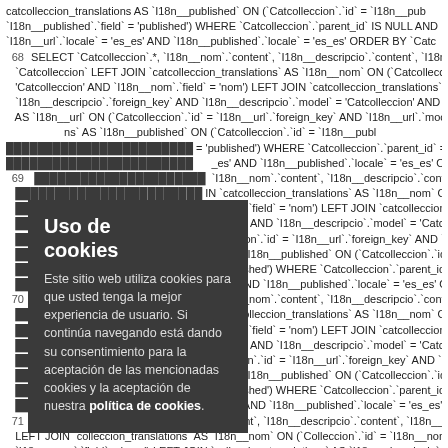catcolleccion_translations AS `I18n__published` ON (`Catcolleccion`.`id` = `I18n__pub` `I18n__published`.`field` = 'published') WHERE `Catcolleccion`.`parent_id` IS NULL AND `I18n__url`.`locale` = 'es_es' AND `I18n__published`.`locale` = 'es_es' ORDER BY `Catc 68 SELECT `Catcolleccion`.*, `I18n__nom`.`content`, `I18n__descripcio`.`content`, `I18n__` `Catcolleccion` LEFT JOIN `catcolleccion_translations` AS `I18n__nom` ON (`Catcollec` 'Catcolleccion' AND `I18n__nom`.`field` = 'nom') LEFT JOIN `catcolleccion_translations` `I18n__descripcio`.`foreign_key` AND `I18n__descripcio`.`model` = 'Catcolleccion' AND AS `I18n__url` ON (`Catcolleccion`.`id` = `I18n__url`.`foreign_key` AND `I18n__url`.`moc`
[Figure (other): Cookie consent overlay popup with dark gray background. Title: 'Uso de cookies'. Body text: 'Este sitio web utiliza cookies para que usted tenga la mejor experiencia de usuario. Si continúa navegando está dando su consentimiento para la aceptación de las mencionadas cookies y la aceptación de nuestra política de cookies.']
ns` AS `I18n__published` ON (`Catcolleccion`.`id` = `I18n__publ` = 'published') WHERE `Catcolleccion`.`parent_id` = 95 AND `I18` _es' AND `I18n__published`.`locale` = 'es_es' ORDER BY `I18n 69 SELECT `Catcolleccion`.*, `I18n__nom`.`content`, `I18n__descripcio`.`content`, `I18n__` IN `catcolleccion_translations` AS `I18n__nom` ON (`Catcollec` _nom`.`field` = 'nom') LEFT JOIN `catcolleccion_translations` gn_key` AND `I18n__descripcio`.`model` = 'Catcolleccion' AND colleccion`.`id` = `I18n__url`.`foreign_key` AND `I18n__url`.`moc ns` AS `I18n__published` ON (`Catcolleccion`.`id` = `I18n__publ` = 'published') WHERE `Catcolleccion`.`parent_id` = 94 AND `I18` _es' AND `I18n__published`.`locale` = 'es_es' ORDER BY `I18n 70 SELECT `Catcolleccion`.*, `I18n__nom`.`content`, `I18n__descripcio`.`content`, `I18n__` IN `catcolleccion_translations` AS `I18n__nom` ON (`Catcollec` _nom`.`field` = 'nom') LEFT JOIN `catcolleccion_translations` gn_key` AND `I18n__descripcio`.`model` = 'Catcolleccion' AND colleccion`.`id` = `I18n__url`.`foreign_key` AND `I18n__url`.`moc ns` AS `I18n__published` ON (`Catcolleccion`.`id` = `I18n__publ` = 'published') WHERE `Catcolleccion`.`parent_id` = 1719 AND _es' AND `I18n__published`.`locale` = 'es_es' ORDER BY `I18n 71 SELECT `Colleccion`.*, `I18n__nom`.`content`, `I18n__descripcio`.`content`, `I18n__url` LEFT JOIN `colleccion_translations` AS `I18n__nom` ON (`Colleccion`.`id` = `I18n__nom` `I18n__nom`.`field` = 'nom') LEFT JOIN `colleccion_translations` AS `I18n__descripcio` `I18n__descripcio`.`model` = 'Colleccion' AND `I18n__descripcio`.`field` = 'descripcio') LF `I18n__url`.`foreign_key` AND `I18n__url`.`model` = 'Colleccion' AND `I18n__url`.`field`